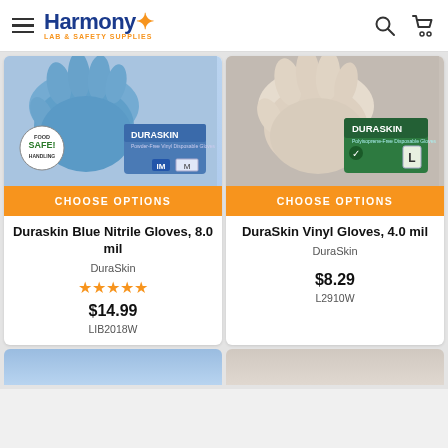Harmony LAB & SAFETY SUPPLIES
[Figure (photo): Duraskin Blue Nitrile Gloves product photo with blue gloves and box showing Food Safe Handling badge]
[Figure (photo): DuraSkin Vinyl Gloves product photo with cream/white gloves and green box]
CHOOSE OPTIONS
CHOOSE OPTIONS
Duraskin Blue Nitrile Gloves, 8.0 mil
DuraSkin Vinyl Gloves, 4.0 mil
DuraSkin
DuraSkin
★★★★★
$14.99
$8.29
LIB2018W
L2910W